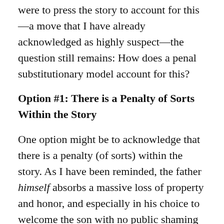were to press the story to account for this—a move that I have already acknowledged as highly suspect—the question still remains: How does a penal substitutionary model account for this?
Option #1: There is a Penalty of Sorts Within the Story
One option might be to acknowledge that there is a penalty (of sorts) within the story. As I have been reminded, the father himself absorbs a massive loss of property and honor, and especially in his choice to welcome the son with no public shaming or retribution. In an honor and shame culture, this is literally unfathomable. It costs the father greatly.
Indeed, such forgiveness is always costly. Just ask the parents who (somehow) choose to forgive their child's murderer, and then to advocate against the